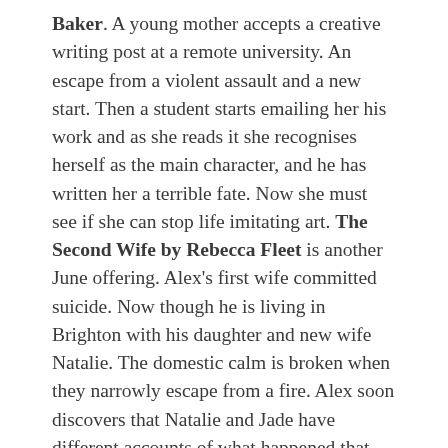Baker. A young mother accepts a creative writing post at a remote university. An escape from a violent assault and a new start. Then a student starts emailing her his work and as she reads it she recognises herself as the main character, and he has written her a terrible fate. Now she must see if she can stop life imitating art. The Second Wife by Rebecca Fleet is another June offering. Alex's first wife committed suicide. Now though he is living in Brighton with his daughter and new wife Natalie. The domestic calm is broken when they narrowly escape from a fire. Alex soon discovers that Natalie and Jade have different accounts of what happened that terrible night. He needs to find out which of them is lying and why. Also out this month is The Perfect Betrayal by Lauren Nort. After the sudden death of her husband, Tess Clarke is drowning